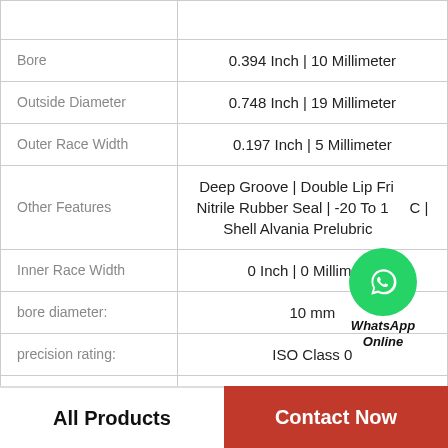| Property | Value |
| --- | --- |
|  |  |
| Bore | 0.394 Inch | 10 Millimeter |
| Outside Diameter | 0.748 Inch | 19 Millimeter |
| Outer Race Width | 0.197 Inch | 5 Millimeter |
| Other Features | Deep Groove | Double Lip Friction Nitrile Rubber Seal | -20 To 1... C | Shell Alvania Prelubricated |
| Inner Race Width | 0 Inch | 0 Millimeter |
| bore diameter: | 10 mm |
| precision rating: | ISO Class 0 |
|  |  |
All Products   Contact Now